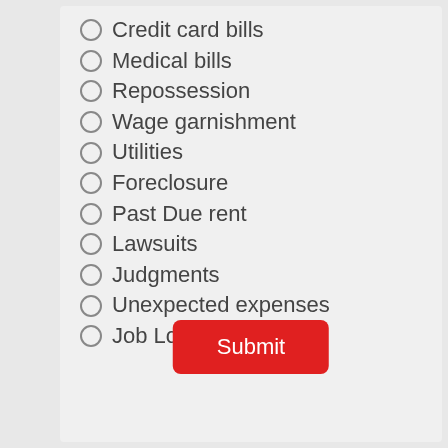Credit card bills
Medical bills
Repossession
Wage garnishment
Utilities
Foreclosure
Past Due rent
Lawsuits
Judgments
Unexpected expenses
Job Loss
Submit